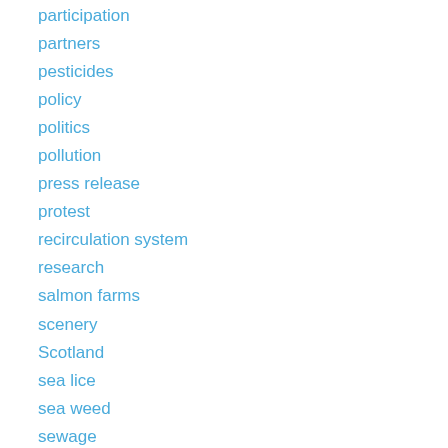participation
partners
pesticides
policy
politics
pollution
press release
protest
recirculation system
research
salmon farms
scenery
Scotland
sea lice
sea weed
sewage
support
tourism
Toxins
Uncategorized